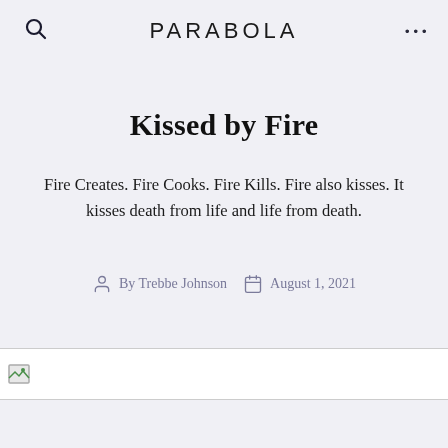PARABOLA
Kissed by Fire
Fire Creates. Fire Cooks. Fire Kills. Fire also kisses. It kisses death from life and life from death.
By Trebbe Johnson   August 1, 2021
[Figure (photo): Broken image placeholder at bottom of article header]